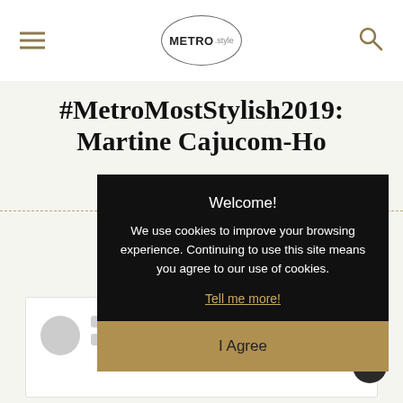METRO.style
#MetroMostStylish2019: Martine Cajucom-Ho
PEOPLE | METRO MOST STYLISH
February ... 1:30 PM
Welcome! We use cookies to improve your browsing experience. Continuing to use this site means you agree to our use of cookies.
Tell me more!
I Agree
[Figure (screenshot): Social media embed placeholder with gray avatar circle and loading bars]